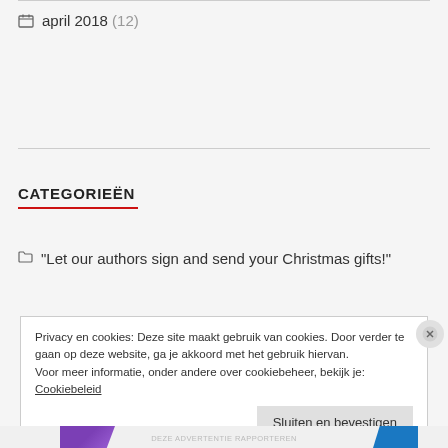april 2018 (12)
CATEGORIEËN
"Let our authors sign and send your Christmas gifts!"
Privacy en cookies: Deze site maakt gebruik van cookies. Door verder te gaan op deze website, ga je akkoord met het gebruik hiervan. Voor meer informatie, onder andere over cookiebeheer, bekijk je: Cookiebeleid
Sluiten en bevestigen